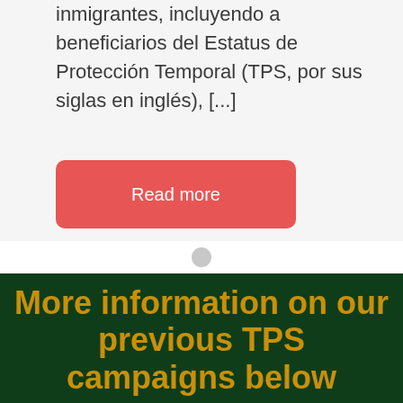inmigrantes, incluyendo a beneficiarios del Estatus de Protección Temporal (TPS, por sus siglas en inglés), [...]
[Figure (other): Red 'Read more' button with rounded corners]
[Figure (other): Small grey circle pagination dot]
More information on our previous TPS campaigns below